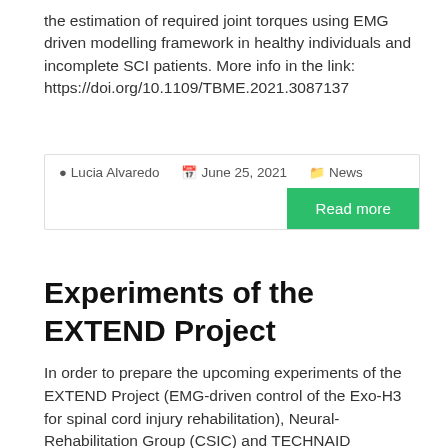the estimation of required joint torques using EMG driven modelling framework in healthy individuals and incomplete SCI patients. More info in the link: https://doi.org/10.1109/TBME.2021.3087137
Lucia Alvaredo   June 25, 2021   News
Read more
Experiments of the EXTEND Project
In order to prepare the upcoming experiments of the EXTEND Project (EMG-driven control of the Exo-H3 for spinal cord injury rehabilitation), Neural-Rehabilitation Group (CSIC) and TECHNAID performed some experiments at TECHNAID facilities. It was a very fruitful